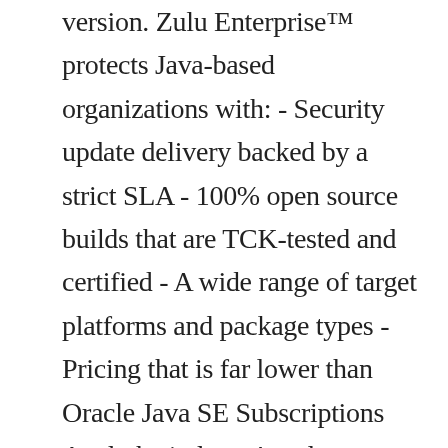version. Zulu Enterprise™ protects Java-based organizations with: - Security update delivery backed by a strict SLA - 100% open source builds that are TCK-tested and certified - A wide range of target platforms and package types - Pricing that is far lower than Oracle Java SE Subscriptions Azul, the industry's only company exclusively focused on Java and the Java Virtual Machine (JVM), builds fully supported, standards-compliant runtimes that help enable Java-based businesses. formId: "c577c2c0-7e90-4c89-8d3f-8003d81c7142" [Topic updated on 02/May/2017 to include Zulu Linux APT Repositories] Introduction. installer: Configuring the installation..... Destination